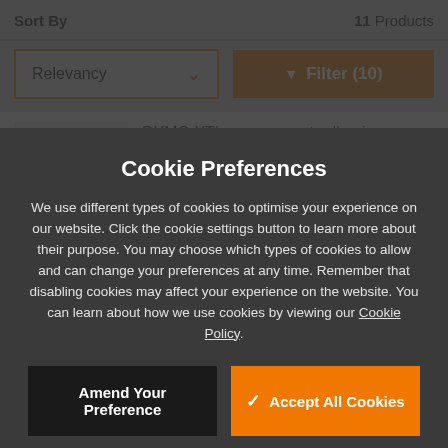Sort By
11 Products
Relevancy
Filter (10)
[Figure (screenshot): Broken image placeholder for DYMO XTL - permanent adhesive flexible nylon label tape product]
DYMO XTL - permanent adhesive flexible nylon label tape
Cookie Preferences
We use different types of cookies to optimise your experience on our website. Click the cookie settings button to learn more about their purpose. You may choose which types of cookies to allow and can change your preferences at any time. Remember that disabling cookies may affect your experience on the website. You can learn about how we use cookies by viewing our Cookie Policy.
Amend Your Preference
Accept All Cookies